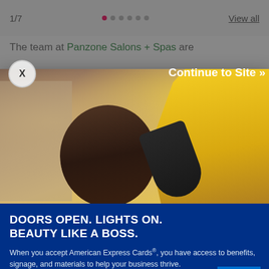1/7   View all
The team at Panzone Salons + Spas are
[Figure (photo): A hair stylist in a yellow top blow-drying a client's dark hair in a salon, with another person visible in the background mirror.]
DOORS OPEN. LIGHTS ON. BEAUTY LIKE A BOSS.
When you accept American Express Cards®, you have access to benefits, signage, and materials to help your business thrive.
Learn More
AMERICAN EXPRESS
Continue to Site »
first for them, will be a Facebook Live tour at 11 a.m. Eastern Standard Time on